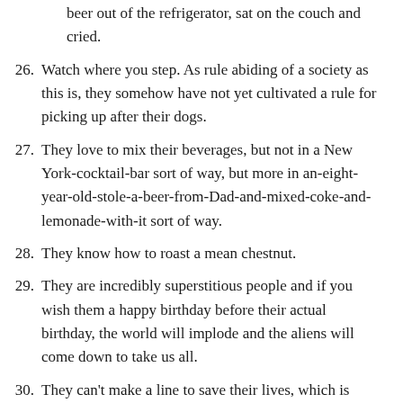beer out of the refrigerator, sat on the couch and cried.
26. Watch where you step. As rule abiding of a society as this is, they somehow have not yet cultivated a rule for picking up after their dogs.
27. They love to mix their beverages, but not in a New York-cocktail-bar sort of way, but more in an-eight-year-old-stole-a-beer-from-Dad-and-mixed-coke-and-lemonade-with-it sort of way.
28. They know how to roast a mean chestnut.
29. They are incredibly superstitious people and if you wish them a happy birthday before their actual birthday, the world will implode and the aliens will come down to take us all.
30. They can't make a line to save their lives, which is hard to believe considering what an efficient group of